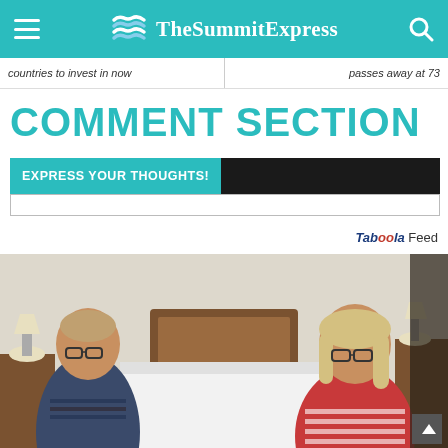TheSummitExpress
countries to invest in now | passes away at 73
COMMENT SECTION
EXPRESS YOUR THOUGHTS!
Taboola Feed
[Figure (photo): An older couple sitting on either side of a bed in a bedroom. The man on the left wears glasses and a striped polo shirt. The woman on the right wears glasses and a red/white striped long-sleeve top. A wooden headboard is visible behind them along with a nightstand.]